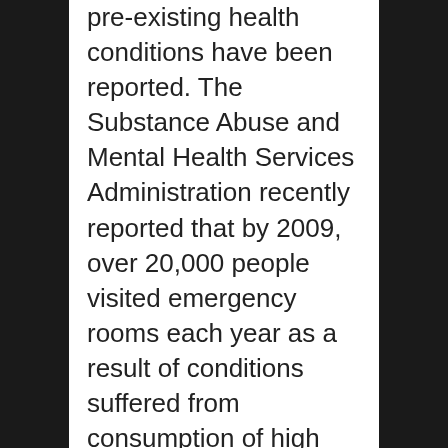pre-existing health conditions have been reported. The Substance Abuse and Mental Health Services Administration recently reported that by 2009, over 20,000 people visited emergency rooms each year as a result of conditions suffered from consumption of high caffeine energy drinks. This is double the 2005 statistic of only about 10,000 such incidents. In Rochdale, England, bodybuilder Dean Wharmby learned of the dangers of